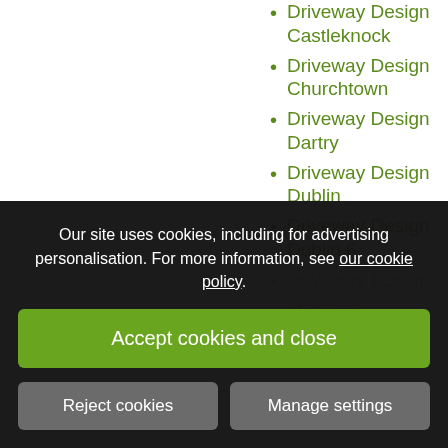Driveway Design Castleknock
Driveway Design Churchtown
Driveway Design Dartry
Driveway Design Dublin
Driveway Design Dublin 6
Driveway Design [partially visible]
Malahide
Driveway Design [partially visible]
Our site uses cookies, including for advertising personalisation. For more information, see our cookie policy.
Accept cookies and close
Reject cookies
Manage settings